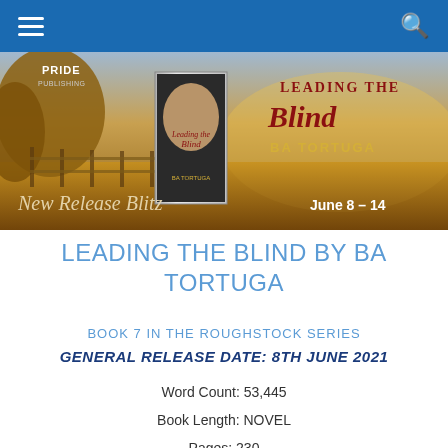[Figure (photo): Book banner for 'Leading the Blind' by BA Tortuga showing a New Release Blitz promotion for June 8-14, with a cowboy book cover against an autumn farm background with a wooden fence. Published by Pride Publishing.]
LEADING THE BLIND BY BA TORTUGA
BOOK 7 IN THE ROUGHSTOCK SERIES
GENERAL RELEASE DATE: 8TH JUNE 2021
Word Count: 53,445
Book Length: NOVEL
Pages: 230